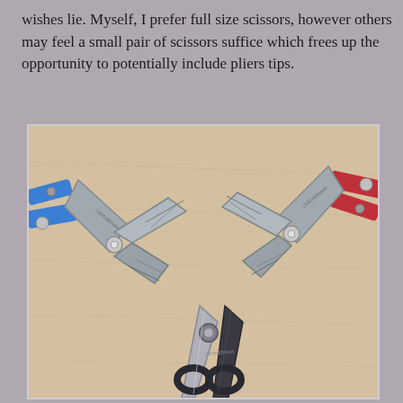wishes lie. Myself, I prefer full size scissors, however others may feel a small pair of scissors suffice which frees up the opportunity to potentially include pliers tips.
[Figure (photo): Overhead photo on a light wood surface showing three multi-tools/pliers and scissors: top-left is a blue-handled Leatherman multi-tool with jaws open, top-right is a red-handled Leatherman multi-tool with jaws open, and bottom-center is a pair of black-handled scissors open.]